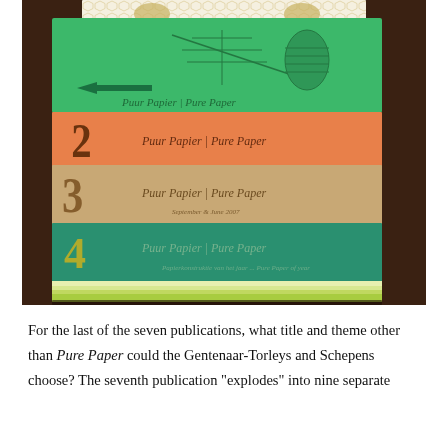[Figure (photo): A stack of numbered booklets/publications (1 through 4 visible) fanned out on a dark wooden surface. The top booklet has a green cover with botanical illustrations. Booklet 2 has an orange cover, booklet 3 has a tan/kraft paper cover, and booklet 4 has a teal/dark green cover. Each booklet shows cursive script reading 'Puur Papier | Pure Paper'. The stack is partially contained in a decorative box with a honeycomb pattern.]
For the last of the seven publications, what title and theme other than Pure Paper could the Gentenaar-Torleys and Schepens choose? The seventh publication “explodes” into nine separate